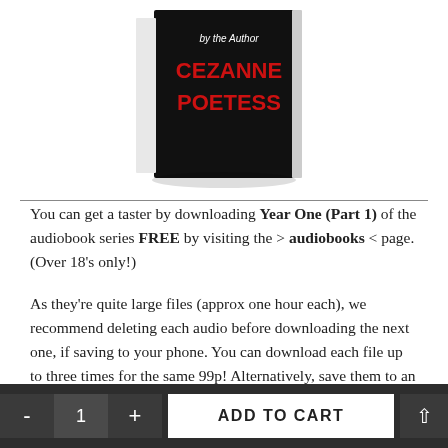[Figure (photo): Book cover showing 'CEZANNE POETESS' in large red text on a black cover, with 'by the Author' text above, displayed as a 3D book standing upright.]
You can get a taster by downloading Year One (Part 1) of the audiobook series FREE by visiting the > audiobooks < page. (Over 18's only!)
As they're quite large files (approx one hour each), we recommend deleting each audio before downloading the next one, if saving to your phone. You can download each file up to three times for the same 99p! Alternatively, save them to an SD card. Enjoy!
You can also download a free preview of Year One in e-book format by visiting  > journeyofasister.com < so you can listen